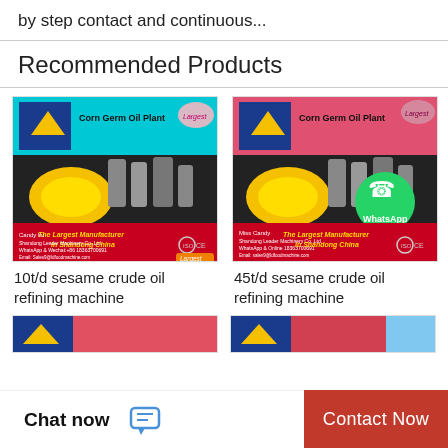by step contact and continuous...
Recommended Products
[Figure (photo): Product photo: Corn Germ Oil Plant machinery - 10t/d sesame crude oil refining machine, with blue header, ISO CE marks, Shandong Leader Machinery Co. Ltd branding]
10t/d sesame crude oil refining machine
[Figure (photo): Product photo: Corn Germ Oil Plant machinery - 45t/d sesame crude oil refining machine, with red/pink header, WhatsApp logo overlay, ISO CE marks, Shandong Leader Machinery Co. Ltd branding]
45t/d sesame crude oil refining machine
[Figure (photo): Partial product image at bottom left (partially cut off)]
[Figure (photo): Partial product image at bottom right (partially cut off)]
Chat now
Contact Now